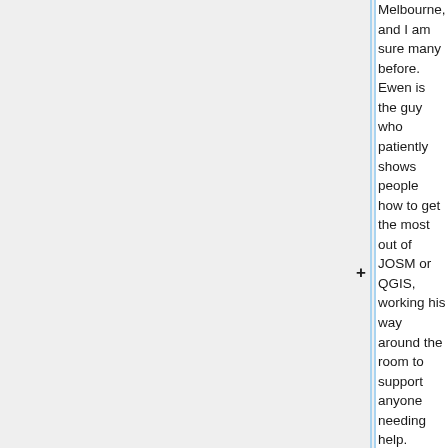Melbourne, and I am sure many before. Ewen is the guy who patiently shows people how to get the most out of JOSM or QGIS, working his way around the room to support anyone needing help. He's the guy that spends time putting together a map in QGIS after an OpenStreetMap event to show the results of a mapathon. He's the guy who